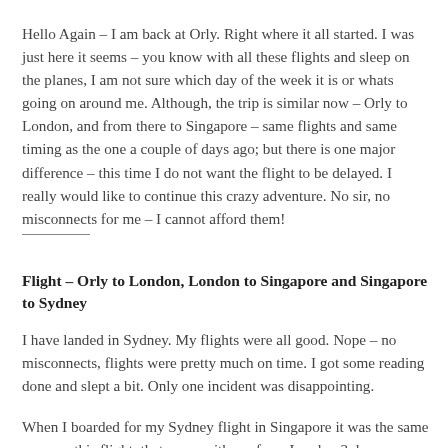Hello Again – I am back at Orly. Right where it all started. I was just here it seems – you know with all these flights and sleep on the planes, I am not sure which day of the week it is or whats going on around me. Although, the trip is similar now – Orly to London, and from there to Singapore – same flights and same timing as the one a couple of days ago; but there is one major difference – this time I do not want the flight to be delayed. I really would like to continue this crazy adventure. No sir, no misconnects for me – I cannot afford them!
Flight – Orly to London, London to Singapore and Singapore to Sydney
I have landed in Sydney. My flights were all good. Nope – no misconnects, flights were pretty much on time. I got some reading done and slept a bit. Only one incident was disappointing.
When I boarded for my Sydney flight in Singapore it was the same crew on this flight, that came with me from London 3 days